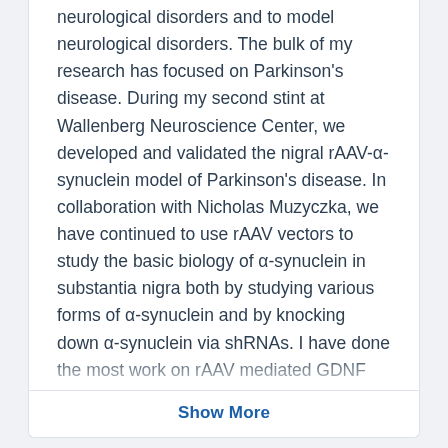neurological disorders and to model neurological disorders. The bulk of my research has focused on Parkinson's disease. During my second stint at Wallenberg Neuroscience Center, we developed and validated the nigral rAAV-α-synuclein model of Parkinson's disease. In collaboration with Nicholas Muzyczka, we have continued to use rAAV vectors to study the basic biology of α-synuclein in substantia nigra both by studying various forms of α-synuclein and by knocking down α-synuclein via shRNAs. I have done the most work on rAAV mediated GDNF delivery for the treatment of PD. More recently, I have
Show More
Teaching Profile
Courses Taught